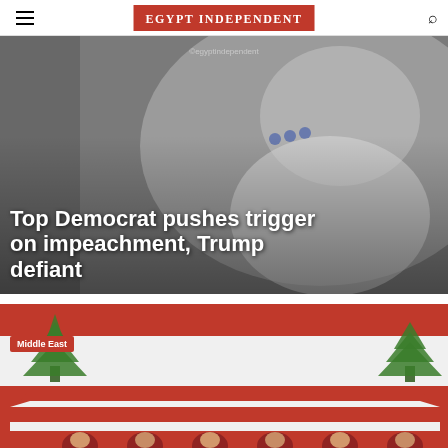EGYPT INDEPENDENT
[Figure (photo): Photo of a woman (Nancy Pelosi) in white jacket, partially cropped, with overlay text about Democrat pushing for impeachment and Trump being defiant]
Top Democrat pushes trigger on impeachment, Trump defiant
[Figure (photo): Photo of Lebanese flag draped over a coffin being carried by soldiers in red berets, with a Middle East category badge overlay]
Middle East